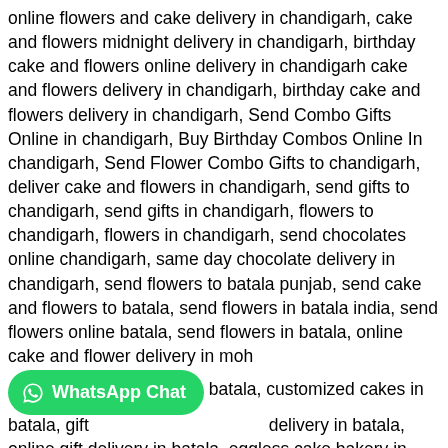online flowers and cake delivery in chandigarh, cake and flowers midnight delivery in chandigarh, birthday cake and flowers online delivery in chandigarh cake and flowers delivery in chandigarh, birthday cake and flowers delivery in chandigarh, Send Combo Gifts Online in chandigarh, Buy Birthday Combos Online In chandigarh, Send Flower Combo Gifts to chandigarh, deliver cake and flowers in chandigarh, send gifts to chandigarh, send gifts in chandigarh, flowers to chandigarh, flowers in chandigarh, send chocolates online chandigarh, same day chocolate delivery in chandigarh, send flowers to batala punjab, send cake and flowers to batala, send flowers in batala india, send flowers online batala, send flowers in batala, online cake and flower delivery in moh... [WhatsApp Chat button] batala, customized cakes in batala, gift... delivery in batala, online gift delivery in batala, eggless cake bakery in batala, online birthday gifts delivery in batala, photo cake price in batala, online cake delivery in batala online chocolate delivery in batala, surprise gift delivery in batala, online cake and gifts delivery in batala, surprise gift delivery in batala, online cake delivery in batala, cake shop in batala, cake shop near me, cake shop near batala, order cake online batala, order cake in batala, order cake online near me, birthday cake online batala, order cake batala, birt... [Live Chat button] batala, birthday cakes delivery batala, send birthday cake to b...tala india order cakes online in batala, cake order in batala, birthday